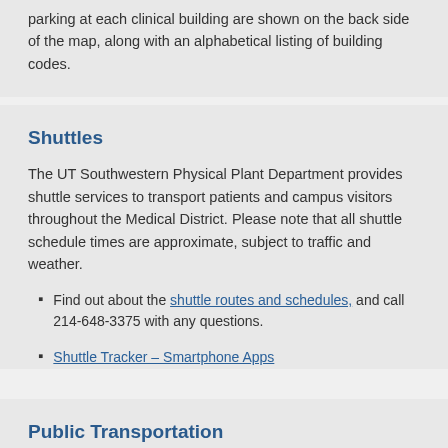parking at each clinical building are shown on the back side of the map, along with an alphabetical listing of building codes.
Shuttles
The UT Southwestern Physical Plant Department provides shuttle services to transport patients and campus visitors throughout the Medical District. Please note that all shuttle schedule times are approximate, subject to traffic and weather.
Find out about the shuttle routes and schedules, and call 214-648-3375 with any questions.
Shuttle Tracker – Smartphone Apps
Public Transportation